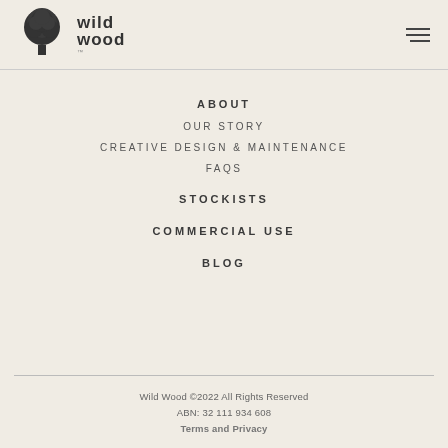Wild Wood — logo and navigation toggle
ABOUT
OUR STORY
CREATIVE DESIGN & MAINTENANCE
FAQS
STOCKISTS
COMMERCIAL USE
BLOG
Wild Wood ©2022 All Rights Reserved
ABN: 32 111 934 608
Terms and Privacy
[Figure (logo): Wild Wood brand logo: stylized tree icon in dark grey with 'wild wood' text in bold, serif-like letters]